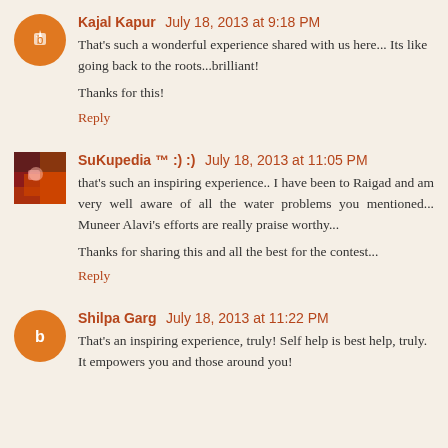Kajal Kapur  July 18, 2013 at 9:18 PM
That's such a wonderful experience shared with us here... Its like going back to the roots...brilliant!
Thanks for this!
Reply
SuKupedia ™ :) :)  July 18, 2013 at 11:05 PM
that's such an inspiring experience.. I have been to Raigad and am very well aware of all the water problems you mentioned... Muneer Alavi's efforts are really praise worthy...
Thanks for sharing this and all the best for the contest...
Reply
Shilpa Garg  July 18, 2013 at 11:22 PM
That's an inspiring experience, truly! Self help is best help, truly. It empowers you and those around you!